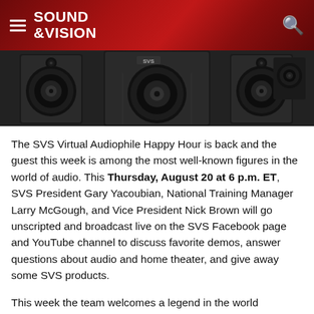SOUND &VISION
[Figure (photo): Photo of SVS speakers/home theater speaker system, showing multiple black tower speakers and center channel speaker against dark background]
The SVS Virtual Audiophile Happy Hour is back and the guest this week is among the most well-known figures in the world of audio. This Thursday, August 20 at 6 p.m. ET, SVS President Gary Yacoubian, National Training Manager Larry McGough, and Vice President Nick Brown will go unscripted and broadcast live on the SVS Facebook page and YouTube channel to discuss favorite demos, answer questions about audio and home theater, and give away some SVS products.
This week the team welcomes a legend in the world